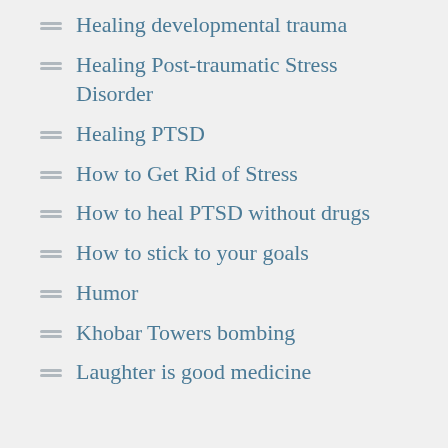Healing developmental trauma
Healing Post-traumatic Stress Disorder
Healing PTSD
How to Get Rid of Stress
How to heal PTSD without drugs
How to stick to your goals
Humor
Khobar Towers bombing
Laughter is good medicine